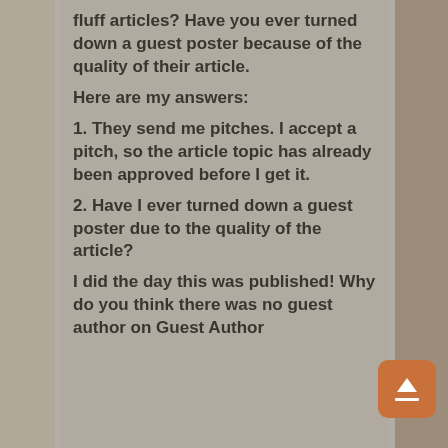fluff articles? Have you ever turned down a guest poster because of the quality of their article.
Here are my answers:
1. They send me pitches. I accept a pitch, so the article topic has already been approved before I get it.
2. Have I ever turned down a guest poster due to the quality of the article?
I did the day this was published! Why do you think there was no guest author on Guest Author Tuesday?